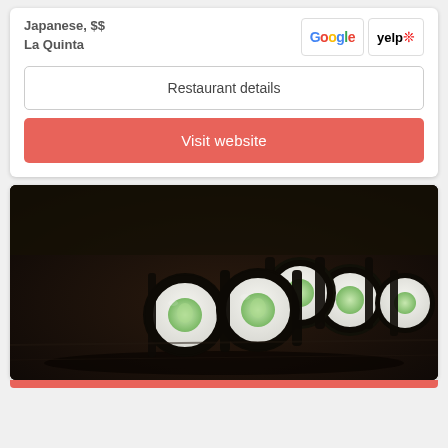Japanese, $$
La Quinta
[Figure (logo): Google logo]
[Figure (logo): Yelp logo]
Restaurant details
Visit website
[Figure (photo): Photo of sushi rolls (cucumber maki) arranged on a dark slate surface, wrapped in nori seaweed with white rice and green cucumber filling visible]